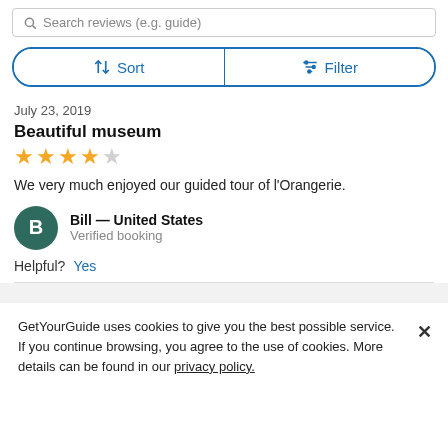Search reviews (e.g. guide)
Sort   Filter
July 23, 2019
Beautiful museum
[Figure (other): 4-star rating with 4 filled yellow stars and 1 empty star]
We very much enjoyed our guided tour of l'Orangerie.
Bill — United States
Verified booking
Helpful?  Yes
GetYourGuide uses cookies to give you the best possible service. If you continue browsing, you agree to the use of cookies. More details can be found in our privacy policy.